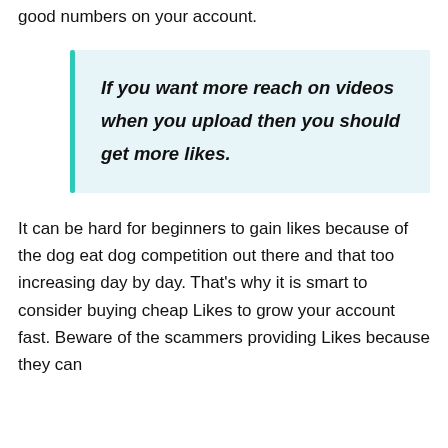good numbers on your account.
If you want more reach on videos when you upload then you should get more likes.
It can be hard for beginners to gain likes because of the dog eat dog competition out there and that too increasing day by day. That's why it is smart to consider buying cheap Likes to grow your account fast. Beware of the scammers providing Likes because they can